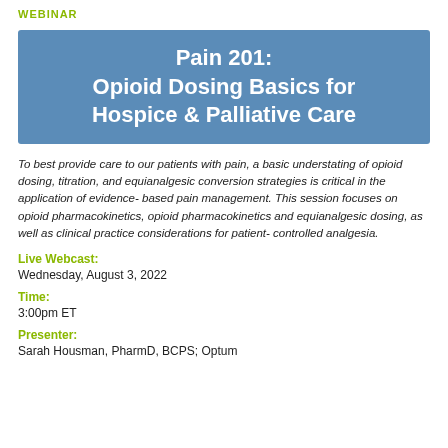WEBINAR
Pain 201: Opioid Dosing Basics for Hospice & Palliative Care
To best provide care to our patients with pain, a basic understating of opioid dosing, titration, and equianalgesic conversion strategies is critical in the application of evidence-based pain management. This session focuses on opioid pharmacokinetics, opioid pharmacokinetics and equianalgesic dosing, as well as clinical practice considerations for patient-controlled analgesia.
Live Webcast:
Wednesday, August 3, 2022
Time:
3:00pm ET
Presenter:
Sarah Housman, PharmD, BCPS; Optum